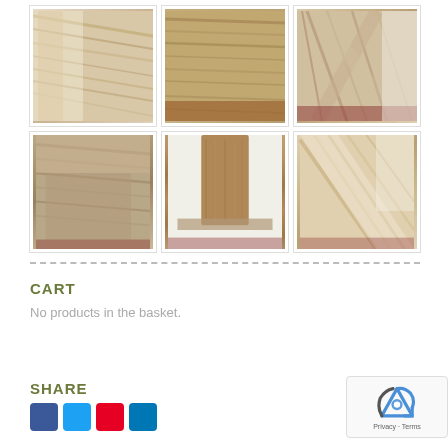[Figure (photo): Grid of 6 close-up photos of wood furniture pieces showing wood grain, joints, and construction details. Top row: left leg/arm joint, table top surface grain, crossed leg joint. Bottom row: corner joint/apron detail, single tapered leg, close-up of wood grain pattern.]
CART
No products in the basket.
SHARE
[Figure (other): reCAPTCHA widget showing Google reCAPTCHA logo with Privacy and Terms links]